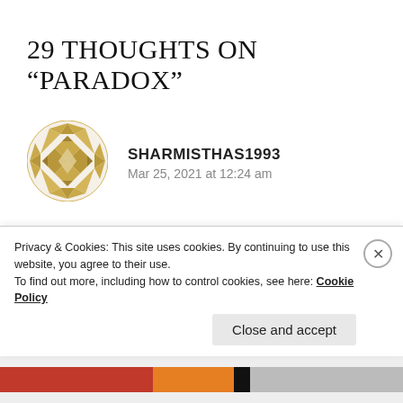29 THOUGHTS ON “PARADOX”
[Figure (illustration): Circular avatar icon with a gold/tan geometric diamond/quilt pattern design on a white background]
SHARMISTHAS1993
Mar 25, 2021 at 12:24 am
I listen to these thoughts and feel the same as you do! Where there is night, there is a day next day; Where there is black, there is white; Where there is
Privacy & Cookies: This site uses cookies. By continuing to use this website, you agree to their use.
To find out more, including how to control cookies, see here: Cookie Policy
Close and accept